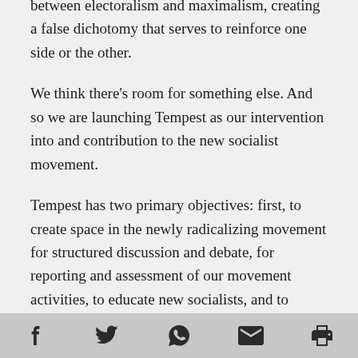between electoralism and maximalism, creating a false dichotomy that serves to reinforce one side or the other.
We think there's room for something else. And so we are launching Tempest as our intervention into and contribution to the new socialist movement.
Tempest has two primary objectives: first, to create space in the newly radicalizing movement for structured discussion and debate, for reporting and assessment of our movement activities, to educate new socialists, and to seriously develop politics; second, though not subordinate, is the need to give voice to the
[social share icons: Facebook, Twitter, WhatsApp, Email, Print]